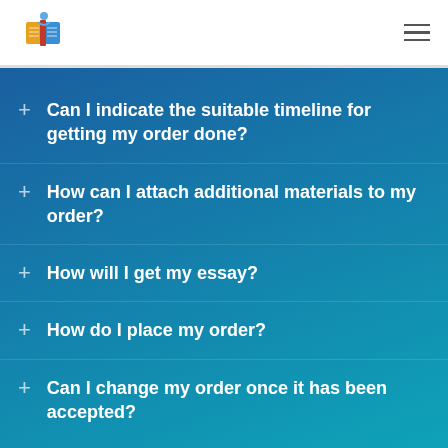Custom Paper Writers [logo]
Can I indicate the suitable timeline for getting my order done?
How can I attach additional materials to my order?
How will I get my essay?
How do I place my order?
Can I change my order once it has been accepted?